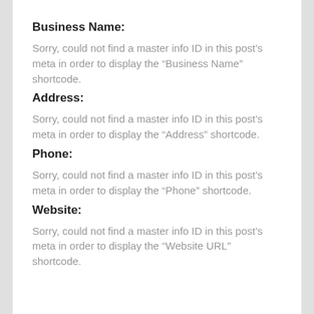Business Name:
Sorry, could not find a master info ID in this post’s meta in order to display the “Business Name” shortcode.
Address:
Sorry, could not find a master info ID in this post’s meta in order to display the “Address” shortcode.
Phone:
Sorry, could not find a master info ID in this post’s meta in order to display the “Phone” shortcode.
Website:
Sorry, could not find a master info ID in this post’s meta in order to display the “Website URL” shortcode.